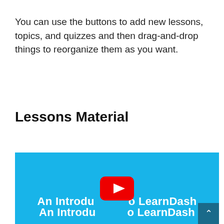You can use the buttons to add new lessons, topics, and quizzes and then drag-and-drop things to reorganize them as you want.
Lessons Material
[Figure (screenshot): YouTube video thumbnail with light blue background showing title 'An Introduction to LearnDash' with a YouTube play button in the center and a dark scroll-up button in the bottom right corner.]